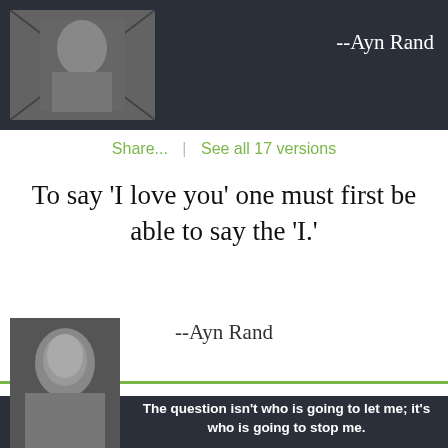[Figure (photo): Black and white photo of a person writing, on dark navy background with partial text '--Ayn Rand' visible on the right]
Share...  |  See all 17 versions
To say 'I love you' one must first be able to say the 'I.'
--Ayn Rand
[Figure (photo): Black and white portrait photo of Ayn Rand on dark navy card with bold white text: 'The question isn't who is going to let me; it's who is going to stop me.']